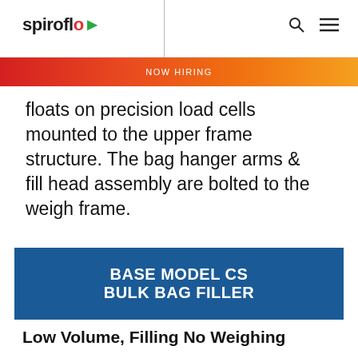spiroflow
NOW HIRING
floats on precision load cells mounted to the upper frame structure. The bag hanger arms & fill head assembly are bolted to the weigh frame.
BASE MODEL CS BULK BAG FILLER
Low Volume, Filling No Weighing